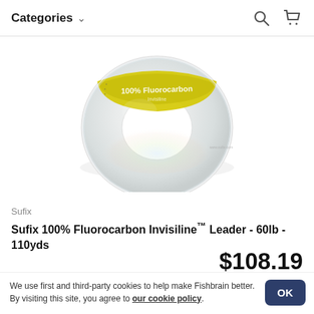Categories
[Figure (photo): Sufix 100% Fluorocarbon Invisiline Leader fishing line spool, clear/translucent with yellow and green label showing '100% Fluorocarbon']
Sufix
Sufix 100% Fluorocarbon Invisiline™ Leader - 60lb - 110yds
$108.19
Pro deal: 10% off at checkout
We use first and third-party cookies to help make Fishbrain better. By visiting this site, you agree to our cookie policy.